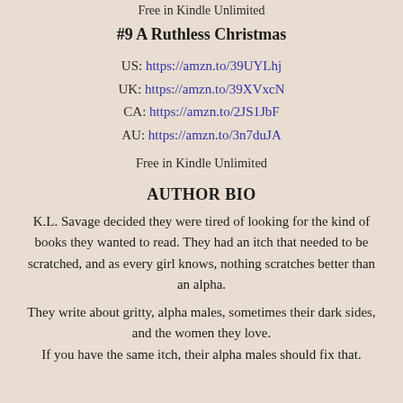Free in Kindle Unlimited
#9 A Ruthless Christmas
US: https://amzn.to/39UYLhj
UK: https://amzn.to/39XVxcN
CA: https://amzn.to/2JS1JbF
AU: https://amzn.to/3n7duJA
Free in Kindle Unlimited
AUTHOR BIO
K.L. Savage decided they were tired of looking for the kind of books they wanted to read. They had an itch that needed to be scratched, and as every girl knows, nothing scratches better than an alpha.
They write about gritty, alpha males, sometimes their dark sides, and the women they love.
If you have the same itch, their alpha males should fix that.